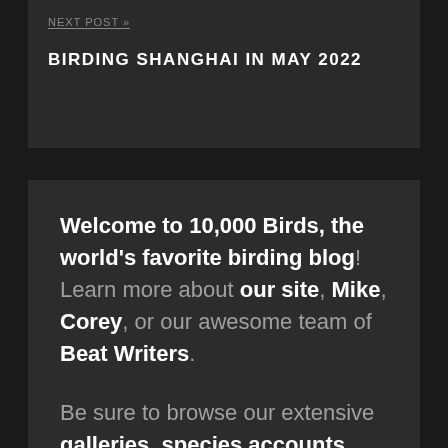NEXT POST »
BIRDING SHANGHAI IN MAY 2022
Welcome to 10,000 Birds, the world's favorite birding blog! Learn more about our site, Mike, Corey, or our awesome team of Beat Writers.
Be sure to browse our extensive galleries, species accounts, and book and product reviews. Feel free to contact us and don't forget to